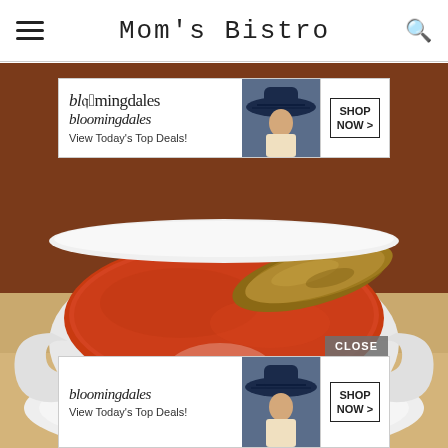Mom's Bistro
[Figure (photo): Close-up photo of a white ceramic bowl filled with tomato soup and a piece of grilled bread/crouton on top, on a white plate, warm orange-red tones]
[Figure (infographic): Bloomingdales advertisement banner - 'View Today's Top Deals!' with SHOP NOW > button and model in wide-brim hat (top)]
[Figure (infographic): CLOSE button overlay (gray semi-transparent)]
[Figure (infographic): Bloomingdales advertisement banner - 'View Today's Top Deals!' with SHOP NOW > button and model in wide-brim hat (bottom)]